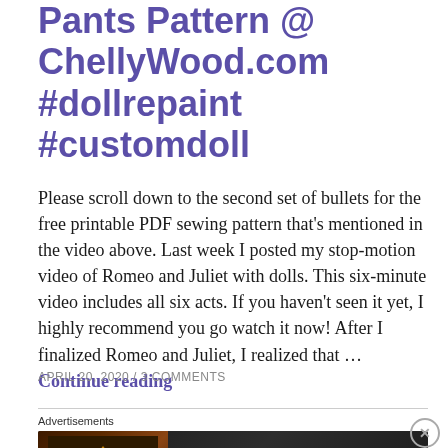Pants Pattern @ ChellyWood.com #dollrepaint #customdoll
Please scroll down to the second set of bullets for the free printable PDF sewing pattern that's mentioned in the video above. Last week I posted my stop-motion video of Romeo and Juliet with dolls. This six-minute video includes all six acts. If you haven't seen it yet, I highly recommend you go watch it now! After I finalized Romeo and Juliet, I realized that … Continue reading
APRIL 20, 2020 / 3 COMMENTS
[Figure (screenshot): Seamless food delivery advertisement banner with pizza image on left, red Seamless logo badge in center, and ORDER NOW button on right against dark background]